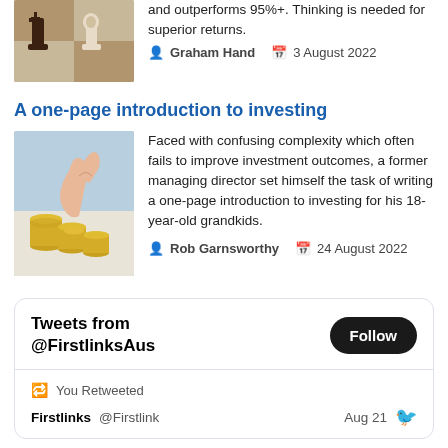[Figure (photo): Chess pieces on a board, brown and white]
…and outperforms 95%+. Thinking is needed for superior returns.
Graham Hand  3 August 2022
A one-page introduction to investing
[Figure (photo): Child's hand stacking gold coins]
Faced with confusing complexity which often fails to improve investment outcomes, a former managing director set himself the task of writing a one-page introduction to investing for his 18-year-old grandkids.
Rob Garnsworthy  24 August 2022
Tweets from @FirstlinksAus
Follow
You Retweeted
Firstlinks  @Firstlink  Aug 21